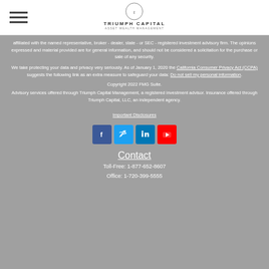Triumph Capital
affiliated with the named representative, broker - dealer, state - or SEC - registered investment advisory firm. The opinions expressed and material provided are for general information, and should not be considered a solicitation for the purchase or sale of any security.
We take protecting your data and privacy very seriously. As of January 1, 2020 the California Consumer Privacy Act (CCPA) suggests the following link as an extra measure to safeguard your data: Do not sell my personal information.
Copyright 2022 FMG Suite.
Advisory services offered through Triumph Capital Management, a registered investment advisor. Insurance offered through Triumph Capital, LLC, an independent agency.
Important Disclosures
[Figure (other): Social media icons: Facebook, Twitter, LinkedIn, YouTube]
Contact
Toll-Free: 1-877-652-8607
Office: 1-720-399-5555